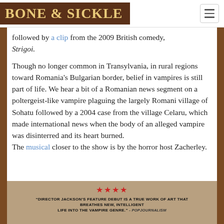BONE & SICKLE
followed by a clip from the 2009 British comedy, Strigoi.
Though no longer common in Transylvania, in rural regions toward Romania's Bulgarian border, belief in vampires is still part of life. We hear a bit of a Romanian news segment on a poltergeist-like vampire plaguing the largely Romani village of Sohatu followed by a 2004 case from the village Celaru, which made international news when the body of an alleged vampire was disinterred and its heart burned.
The musical closer to the show is by the horror host Zacherley.
[Figure (photo): Movie promotional image with red stars and quote: 'DIRECTOR JACKSON'S FEATURE DEBUT IS A TRUE WORK OF ART THAT BREATHES NEW, INTELLIGENT LIFE INTO THE VAMPIRE GENRE.' - Popjournalism]